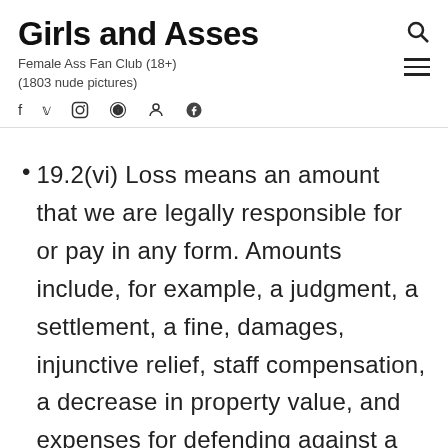Girls and Asses
Female Ass Fan Club (18+)
(1803 nude pictures)
19.2(vi) Loss means an amount that we are legally responsible for or pay in any form. Amounts include, for example, a judgment, a settlement, a fine, damages, injunctive relief, staff compensation, a decrease in property value, and expenses for defending against a claim for a loss (including fees for legal counsel, expert witnesses, and other